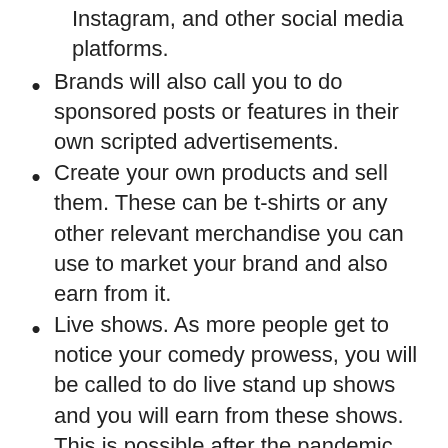Instagram, and other social media platforms.
Brands will also call you to do sponsored posts or features in their own scripted advertisements.
Create your own products and sell them. These can be t-shirts or any other relevant merchandise you can use to market your brand and also earn from it.
Live shows. As more people get to notice your comedy prowess, you will be called to do live stand up shows and you will earn from these shows. This is possible after the pandemic.
Movies and TV shows. This is usually the peak of the comedy industry. As you grow your talent and career, you can feature in movies and TV shows. They pay millions of dollars to their actors especially when the